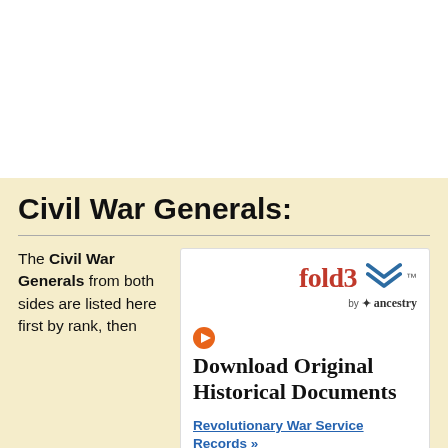Civil War Generals:
The Civil War Generals from both sides are listed here first by rank, then
[Figure (advertisement): Fold3 by Ancestry advertisement with orange play button and text: Download Original Historical Documents. Link: Revolutionary War Service Records »]